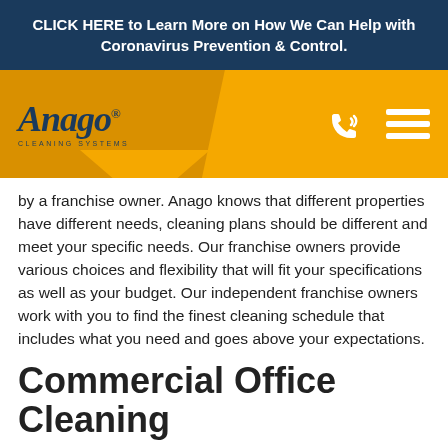CLICK HERE to Learn More on How We Can Help with Coronavirus Prevention & Control.
[Figure (logo): Anago Cleaning Systems logo on orange/gold navigation bar with phone icon and hamburger menu icon]
by a franchise owner. Anago knows that different properties have different needs, cleaning plans should be different and meet your specific needs. Our franchise owners provide various choices and flexibility that will fit your specifications as well as your budget. Our independent franchise owners work with you to find the finest cleaning schedule that includes what you need and goes above your expectations.
Commercial Office Cleaning